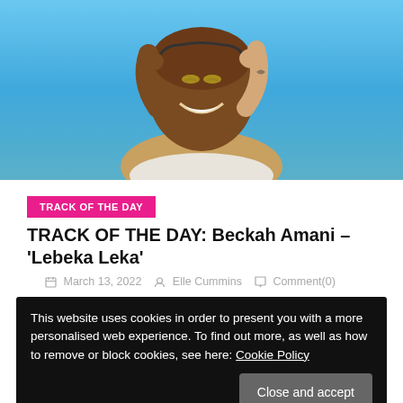[Figure (photo): A person smiling joyfully looking up at the sky against a blue sky background, with hands near their head holding headphones. Another person's tattooed arm is visible.]
TRACK OF THE DAY
TRACK OF THE DAY: Beckah Amani – 'Lebeka Leka'
March 13, 2022  Elle Cummins  Comment(0)
This website uses cookies in order to present you with a more personalised web experience. To find out more, as well as how to remove or block cookies, see here: Cookie Policy
Close and accept
Amani convinces the listeners to let go and live life to